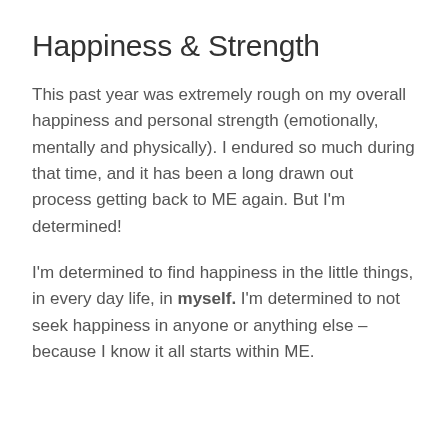Happiness & Strength
This past year was extremely rough on my overall happiness and personal strength (emotionally, mentally and physically). I endured so much during that time, and it has been a long drawn out process getting back to ME again. But I'm determined!
I'm determined to find happiness in the little things, in every day life, in myself. I'm determined to not seek happiness in anyone or anything else – because I know it all starts within ME.